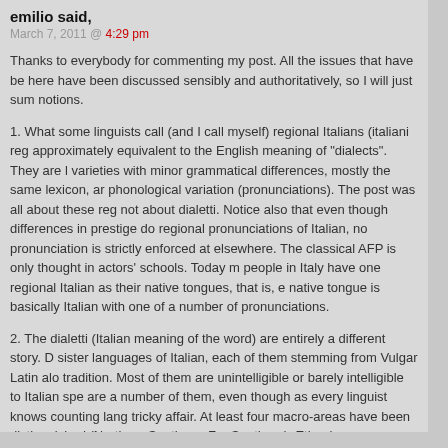emilio said,
March 7, 2011 @ 4:29 pm
Thanks to everybody for commenting my post. All the issues that have been here have been discussed sensibly and authoritatively, so I will just sum notions.
1. What some linguists call (and I call myself) regional Italians (italiani reg approximately equivalent to the English meaning of "dialects". They are l varieties with minor grammatical differences, mostly the same lexicon, ar phonological variation (pronunciations). The post was all about these reg not about dialetti. Notice also that even though differences in prestige do regional pronunciations of Italian, no pronunciation is strictly enforced at elsewhere. The classical AFP is only thought in actors' schools. Today m people in Italy have one regional Italian as their native tongues, that is, e native tongue is basically Italian with one of a number of pronunciations.
2. The dialetti (Italian meaning of the word) are entirely a different story. D sister languages of Italian, each of them stemming from Vulgar Latin alo tradition. Most of them are unintelligible or barely intelligible to Italian spe are a number of them, even though as every linguist knows counting lang tricky affair. At least four macro-areas have been distinguished (Northern Southern, Far Southern). Ethnologue, reasonably, opts for a finer graine classification. Dialetti used to be native tongues to 98% of Italian citizens (according to T. De Mauro). After one century and a half of repression, th